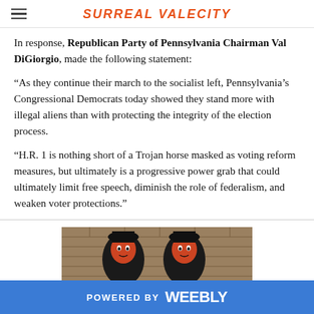SURREAL VALECITY
In response, Republican Party of Pennsylvania Chairman Val DiGiorgio, made the following statement:
“As they continue their march to the socialist left, Pennsylvania’s Congressional Democrats today showed they stand more with illegal aliens than with protecting the integrity of the election process.
“H.R. 1 is nothing short of a Trojan horse masked as voting reform measures, but ultimately is a progressive power grab that could ultimately limit free speech, diminish the role of federalism, and weaken voter protections.”
[Figure (photo): Photo of two decorative puppet or doll figures with red and black coloring against a brick wall background]
POWERED BY weebly